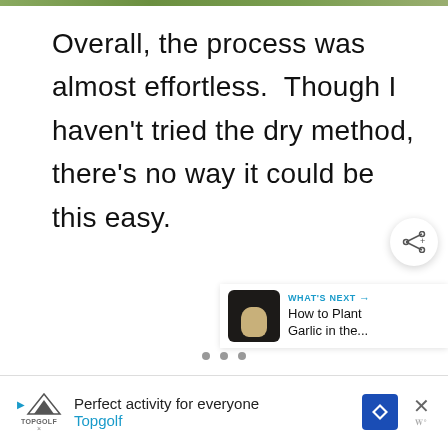[Figure (photo): Partial image strip at the top of the page, showing a blurred outdoor/garden scene]
Overall, the process was almost effortless.  Though I haven't tried the dry method, there's no way it could be this easy.
[Figure (screenshot): Share button (circular white button with share icon)]
[Figure (screenshot): What's Next card showing 'How to Plant Garlic in the...' with a thumbnail of garlic]
[Figure (screenshot): Navigation dots (three grey dots for carousel pagination)]
[Figure (screenshot): Advertisement banner for Topgolf: 'Perfect activity for everyone' with Topgolf branding]